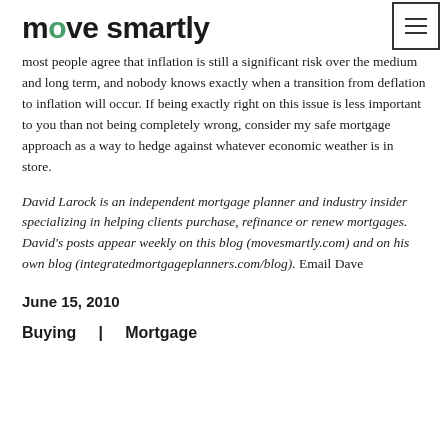move smartly
most people agree that inflation is still a significant risk over the medium and long term, and nobody knows exactly when a transition from deflation to inflation will occur. If being exactly right on this issue is less important to you than not being completely wrong, consider my safe mortgage approach as a way to hedge against whatever economic weather is in store.
David Larock is an independent mortgage planner and industry insider specializing in helping clients purchase, refinance or renew mortgages. David's posts appear weekly on this blog (movesmartly.com) and on his own blog (integratedmortgageplanners.com/blog). Email Dave
June 15, 2010
Buying   |   Mortgage